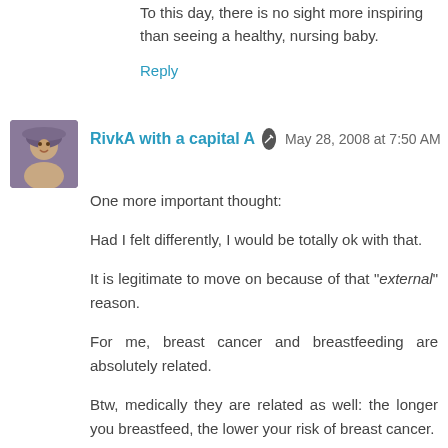To this day, there is no sight more inspiring than seeing a healthy, nursing baby.
Reply
[Figure (photo): Avatar/profile photo of a person wearing a purple hat, smiling, in a circular-ish thumbnail.]
RivkA with a capital A  May 28, 2008 at 7:50 AM
One more important thought:

Had I felt differently, I would be totally ok with that.

It is legitimate to move on because of that "external" reason.

For me, breast cancer and breastfeeding are absolutely related.

Btw, medically they are related as well: the longer you breastfeed, the lower your risk of breast cancer.

(not that that helped me!)

:-}